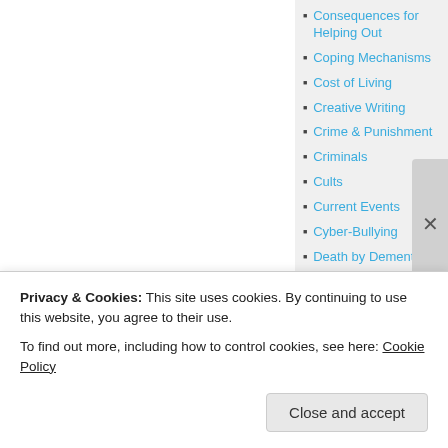Consequences for Helping Out
Coping Mechanisms
Cost of Living
Creative Writing
Crime & Punishment
Criminals
Cults
Current Events
Cyber-Bullying
Death by Dementia
Death by Negligence
Privacy & Cookies: This site uses cookies. By continuing to use this website, you agree to their use.
To find out more, including how to control cookies, see here: Cookie Policy
Close and accept